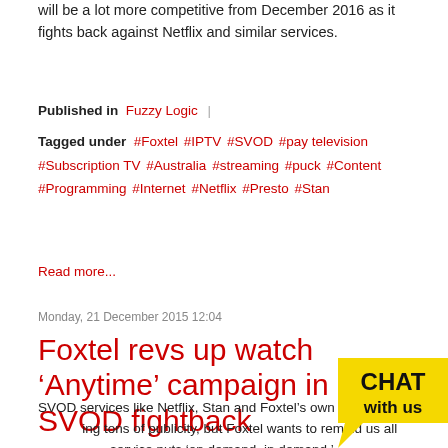will be a lot more competitive from December 2016 as it fights back against Netflix and similar services.
Published in Fuzzy Logic
Tagged under #Foxtel #IPTV #SVOD #pay television #Subscription TV #Australia #streaming #puck #Content #Programming #Internet #Netflix #Presto #Stan
Read more...
Monday, 21 December 2015 12:04
Foxtel revs up watch ‘Anytime’ campaign in SVOD fightback
SVOD services like Netflix, Stan and Foxtel’s own Presto are getting tons of publicity, but Foxtel wants to remind us all that its own service puts ‘on demand, in demand.’
[Figure (logo): CHAT with us badge/button in yellow and black]